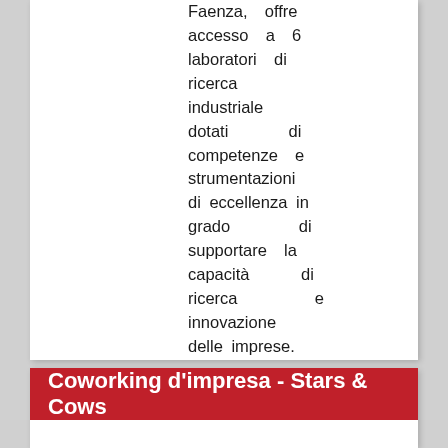Faenza, offre accesso a 6 laboratori di ricerca industriale dotati di competenze e strumentazioni di eccellenza in grado di supportare la capacità di ricerca e innovazione delle imprese.
Coworking d'impresa - Stars & Cows